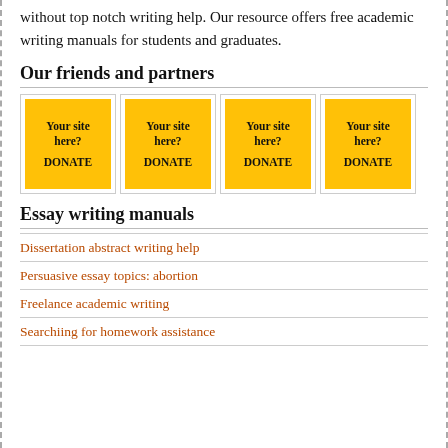without top notch writing help. Our resource offers free academic writing manuals for students and graduates.
Our friends and partners
[Figure (other): Four yellow 'Your site here? DONATE' partner placeholder cards arranged in a 3+1 grid layout]
Essay writing manuals
Dissertation abstract writing help
Persuasive essay topics: abortion
Freelance academic writing
Searchiing for homework assistance